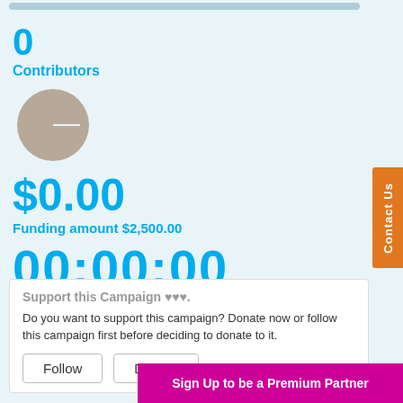[Figure (other): Progress bar at top, mostly empty/grey]
0
Contributors
[Figure (pie-chart): Grey circle/pie chart showing 0% funded]
$0.00
Funding amount $2,500.00
00:00:00
Hours to go
Support this Campaign ♥♥♥.
Do you want to support this campaign? Donate now or follow this campaign first before deciding to donate to it.
Follow
Donate
Sign Up to be a Premium Partner